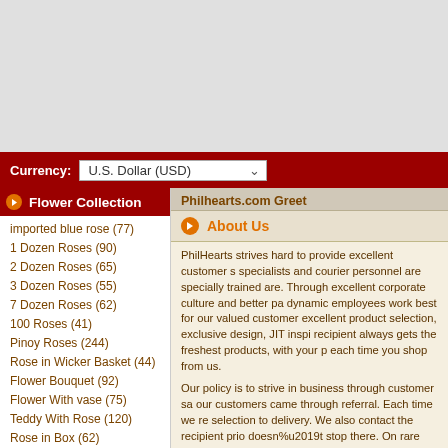[Figure (screenshot): Gray background area at top of page (website UI)]
Currency: U.S. Dollar (USD)
Flower Collection
imported blue rose (77)
1 Dozen Roses (90)
2 Dozen Roses (65)
3 Dozen Roses (55)
7 Dozen Roses (62)
100 Roses (41)
Pinoy Roses (244)
Rose in Wicker Basket (44)
Flower Bouquet (92)
Flower With vase (75)
Teddy With Rose (120)
Rose in Box (62)
Rose in Vase (40)
Carnation (63)
Gerberas (99)
Philhearts.com Greet
About Us
PhilHearts strives hard to provide excellent customer s... specialists and courier personnel are specially trained ... are. Through excellent corporate culture and better pa... dynamic employees work best for our valued customer... excellent product selection, exclusive design, JIT inspi... recipient always gets the freshest products, with your p... each time you shop from us.
Our policy is to strive in business through customer sa... our customers came through referral. Each time we re... selection to delivery. We also contact the recipient prio... doesn%u2019t stop there. On rare occasion when deli... down we offer the recipient to claim his/her item from a... claim the item form our head office
Ask for what you want; no order is too big or too smal...